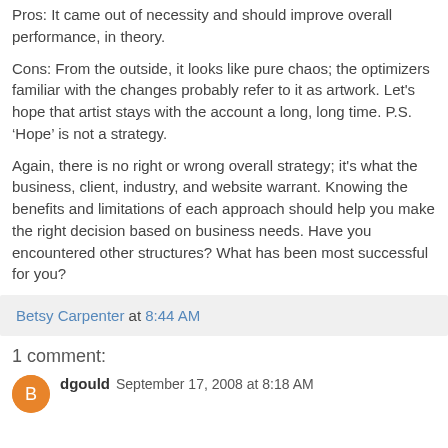Pros: It came out of necessity and should improve overall performance, in theory.
Cons: From the outside, it looks like pure chaos; the optimizers familiar with the changes probably refer to it as artwork. Let's hope that artist stays with the account a long, long time. P.S. ‘Hope’ is not a strategy.
Again, there is no right or wrong overall strategy; it's what the business, client, industry, and website warrant. Knowing the benefits and limitations of each approach should help you make the right decision based on business needs. Have you encountered other structures? What has been most successful for you?
Betsy Carpenter at 8:44 AM
1 comment:
dgould September 17, 2008 at 8:18 AM